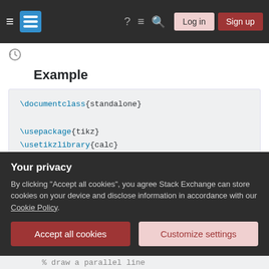Stack Exchange navigation bar with hamburger menu, logo, help, chat, search icons, Log in and Sign up buttons
Example
[Figure (screenshot): Code block showing LaTeX code: \documentclass{standalone}, \usepackage{tikz}, \usetikzlibrary{calc}, \begin{document}, \begin{tikzpicture}, % make some mathematical calculations, \node (a) at (1,1) {A};]
Your privacy
By clicking "Accept all cookies", you agree Stack Exchange can store cookies on your device and disclose information in accordance with our Cookie Policy.
Accept all cookies   Customize settings
% draw a parallel line